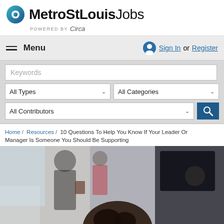[Figure (logo): MetroStLouisJobs logo with circular teal/blue icon and bold text, powered by Circa]
≡ Menu    Sign In or Register
Keywords
All Types    All Categories
All Contributors
Home / Resources / 10 Questions To Help You Know If Your Leader Or Manager Is Someone You Should Be Supporting
[Figure (photo): Photo of business professionals in an office setting, blurred background with people in suits, one person with curly hair in foreground]